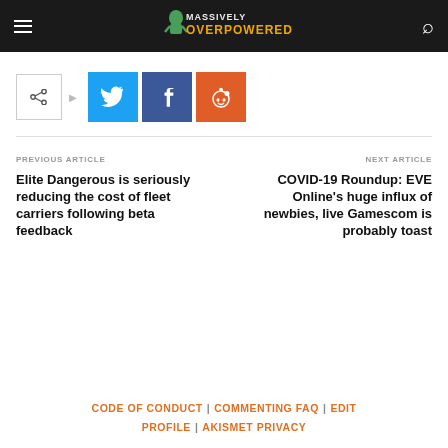Massively Overpowered
[Figure (infographic): Social share buttons row: share icon button, arrow, Twitter button (blue), Facebook button (dark blue), Reddit button (orange-red)]
PREVIOUS ARTICLE
Elite Dangerous is seriously reducing the cost of fleet carriers following beta feedback
NEXT ARTICLE
COVID-19 Roundup: EVE Online's huge influx of newbies, live Gamescom is probably toast
CODE OF CONDUCT | COMMENTING FAQ | EDIT PROFILE | AKISMET PRIVACY